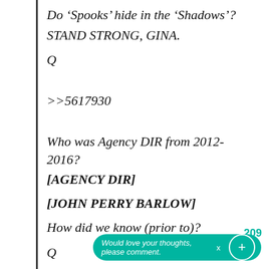Do ‘Spooks’ hide in the ‘Shadows’?
STAND STRONG, GINA.
Q
>>5617930
Who was Agency DIR from 2012-2016?
[AGENCY DIR]
[JOHN PERRY BARLOW]
How did we know (prior to)?
Q
209
Would love your thoughts, please comment.